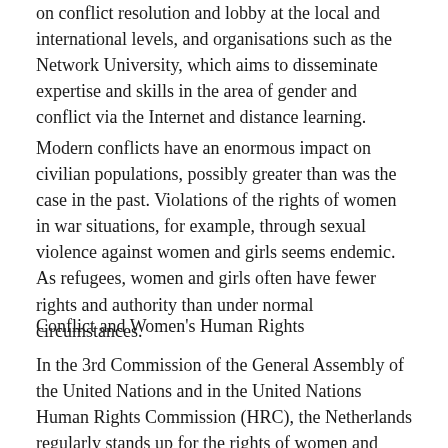on conflict resolution and lobby at the local and international levels, and organisations such as the Network University, which aims to disseminate expertise and skills in the area of gender and conflict via the Internet and distance learning.
Modern conflicts have an enormous impact on civilian populations, possibly greater than was the case in the past. Violations of the rights of women in war situations, for example, through sexual violence against women and girls seems endemic. As refugees, women and girls often have fewer rights and authority than under normal circumstances.
Conflict and Women's Human Rights
In the 3rd Commission of the General Assembly of the United Nations and in the United Nations Human Rights Commission (HRC), the Netherlands regularly stands up for the rights of women and girls in conflict situations. Recent examples include the General Assembly Resolution 56/176